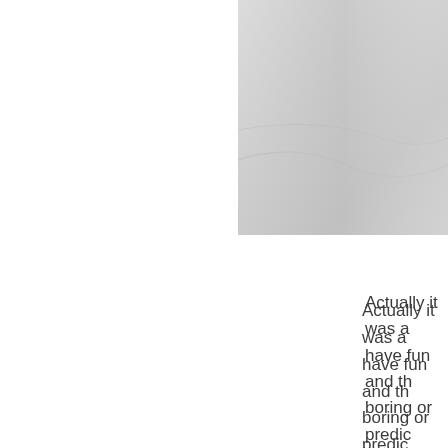[Figure (photo): A partial photo visible in the upper-right corner of the page, showing a light gray/white textured surface, possibly fabric or paper.]
Actually it was a have fun and th boring or predic
Something abo together with th came up with a table.
So they got a p As the cake cut captured the sh burst in to laug had all been tric